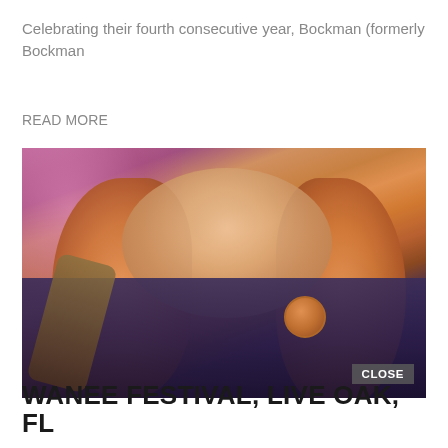Celebrating their fourth consecutive year, Bockman (formerly Bockman
READ MORE
[Figure (photo): Close-up photo of a large man with long curly reddish-orange hair, chin slightly raised, wearing a dark shirt with a guitar strap visible on the left; a round badge/button visible on chest; pink stage lighting on the left side; 'CLOSE' button overlay on lower right]
WANEE FESTIVAL, LIVE OAK, FL